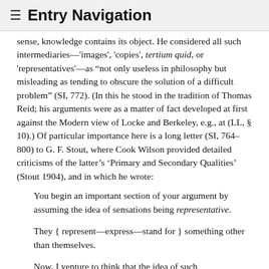≡ Entry Navigation
sense, knowledge contains its object. He considered all such intermediaries—'images', 'copies', tertium quid, or 'representatives'—as "not only useless in philosophy but misleading as tending to obscure the solution of a difficult problem" (SI, 772). (In this he stood in the tradition of Thomas Reid; his arguments were as a matter of fact developed at first against the Modern view of Locke and Berkeley, e.g., at (LL, § 10).) Of particular importance here is a long letter (SI, 764–800) to G. F. Stout, where Cook Wilson provided detailed criticisms of the latter's 'Primary and Secondary Qualities' (Stout 1904), and in which he wrote:
You begin an important section of your argument by assuming the idea of sensations being representative.
They { represent—express—stand for } something other than themselves.
Now, I venture to think that the idea of such representation in philosophy, or psychology rather, is